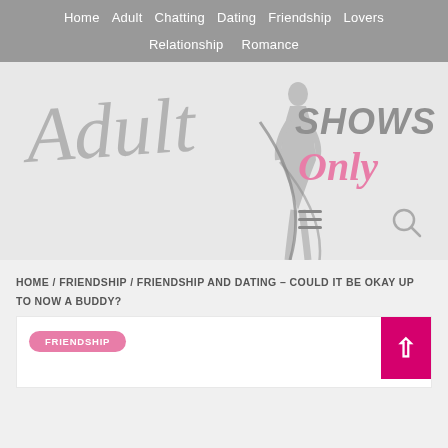Home / Adult / Chatting / Dating / Friendship / Lovers / Relationship / Romance
[Figure (logo): Adult Shows Only logo — stylized cursive 'Adult' text in gray with a female silhouette, 'SHOWS' in bold gray caps, 'Only' in pink script]
HOME / FRIENDSHIP / FRIENDSHIP AND DATING – COULD IT BE OKAY UP TO NOW A BUDDY?
FRIENDSHIP